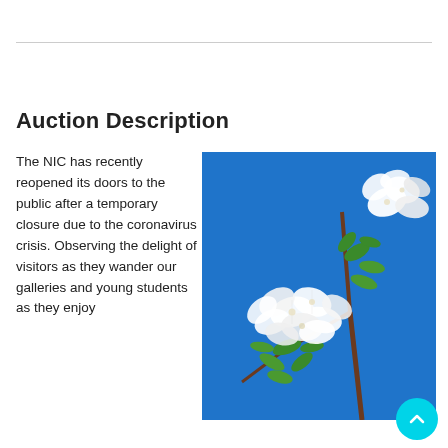Auction Description
The NIC has recently reopened its doors to the public after a temporary closure due to the coronavirus crisis. Observing the delight of visitors as they wander our galleries and young students as they enjoy
[Figure (photo): A painting of white blossoms and green leaves on a brown branch against a vivid blue sky background.]